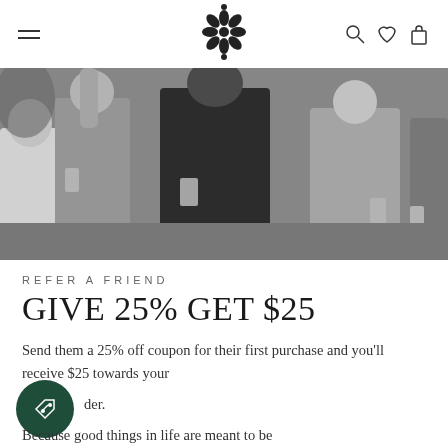Navigation header with hamburger menu, floral logo, search, wishlist, and cart icons
[Figure (photo): Black and white photo of a group of people socializing outdoors, holding drinks, wearing patterned clothing]
REFER A FRIEND
GIVE 25% GET $25
Send them a 25% off coupon for their first purchase and you'll receive $25 towards your order.
Because good things in life are meant to be